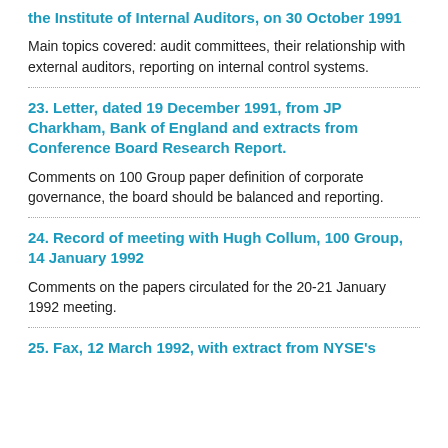the Institute of Internal Auditors, on 30 October 1991
Main topics covered: audit committees, their relationship with external auditors, reporting on internal control systems.
23. Letter, dated 19 December 1991, from JP Charkham, Bank of England and extracts from Conference Board Research Report.
Comments on 100 Group paper definition of corporate governance, the board should be balanced and reporting.
24. Record of meeting with Hugh Collum, 100 Group, 14 January 1992
Comments on the papers circulated for the 20-21 January 1992 meeting.
25. Fax, 12 March 1992, with extract from NYSE's